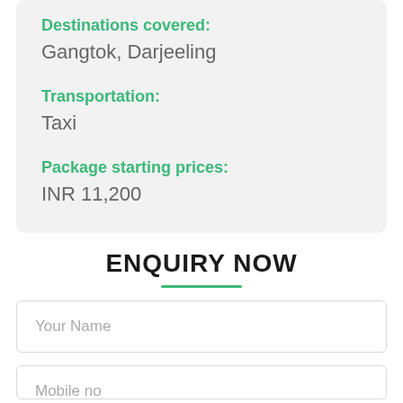Destinations covered:
Gangtok, Darjeeling
Transportation:
Taxi
Package starting prices:
INR 11,200
ENQUIRY NOW
Your Name
Mobile no